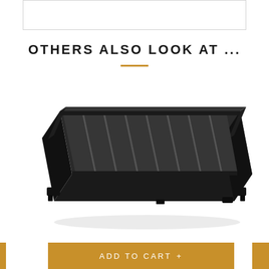[Figure (other): Top white bar with border — partial product image or header graphic at top of page]
OTHERS ALSO LOOK AT ...
[Figure (photo): Black aluminum roof rack tray with slatted surface and mounting brackets, shown in perspective/isometric view against white background]
ADD TO CART +